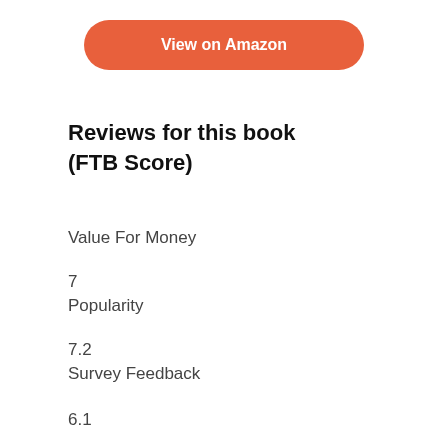[Figure (other): Orange rounded button labeled 'View on Amazon']
Reviews for this book
(FTB Score)
Value For Money
7
Popularity
7.2
Survey Feedback
6.1